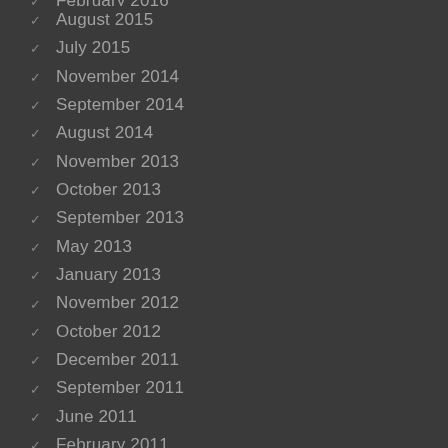February 2016
August 2015
July 2015
November 2014
September 2014
August 2014
November 2013
October 2013
September 2013
May 2013
January 2013
November 2012
October 2012
December 2011
September 2011
June 2011
February 2011
January 2011
November 2010